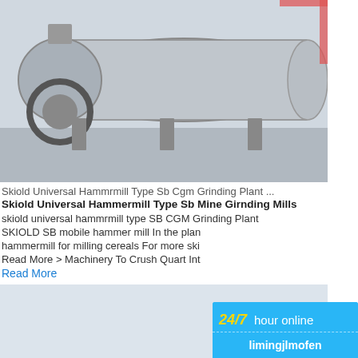[Figure (photo): Industrial ball mill machine in a factory setting, large cylindrical grey drum with gear mechanism]
Skiold Universal Hammrmill Type Sb Cgm Grinding Plant ...
Skiold Universal Hammermill Type Sb Mine Girnding Mills
skiold universal hammrmill type SB CGM Grinding Plant
SKIOLD SB mobile hammer mill In the plant hammermill for milling cereals For more ski... Read More > Machinery To Crush Quart Int...
Read More
[Figure (photo): Conveyor belt structure at a mining or quarrying site in winter landscape with snow and bare trees]
Skiold Universelle Hammrmill Type Sb
Nov 30, 2020  skiold universal hammrmill ty...
[Figure (infographic): 24/7 hour online chat widget sidebar showing a cone crusher machine, Click me to chat>> button, Enquiry section, and limingjlmofen text]